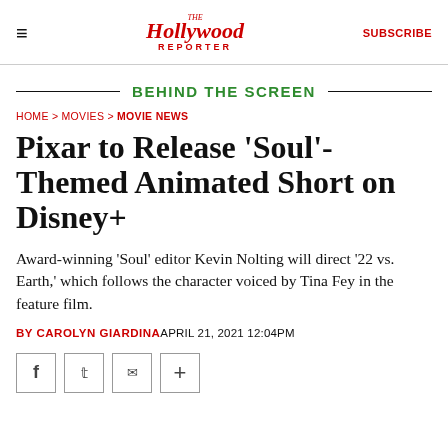The Hollywood Reporter | SUBSCRIBE
BEHIND THE SCREEN
HOME > MOVIES > MOVIE NEWS
Pixar to Release 'Soul'-Themed Animated Short on Disney+
Award-winning 'Soul' editor Kevin Nolting will direct '22 vs. Earth,' which follows the character voiced by Tina Fey in the feature film.
BY CAROLYN GIARDINA APRIL 21, 2021 12:04PM
[Figure (other): Social sharing icons: Facebook, Twitter, Email, Plus]